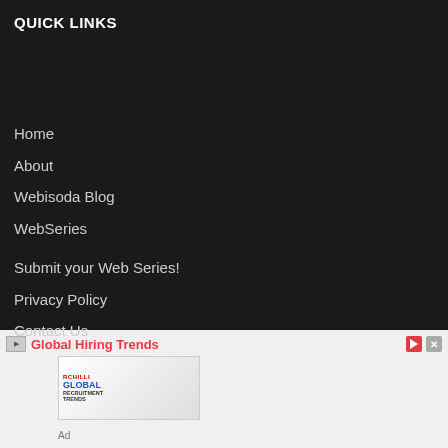QUICK LINKS
Home
About
Webisoda Blog
WebSeries
Submit your Web Series!
Privacy Policy
Contact Us
[Figure (infographic): Advertisement banner for RChilli Global Recruitment Trends with headline 'Global Hiring Trends']
Ad